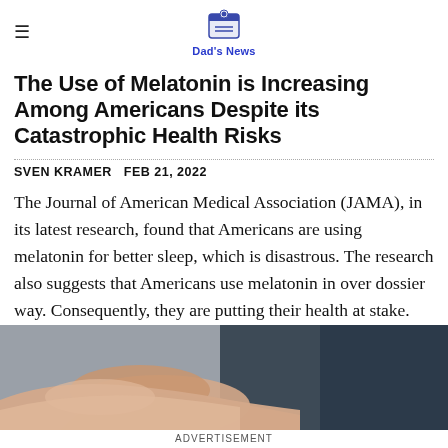Dad's News
The Use of Melatonin is Increasing Among Americans Despite its Catastrophic Health Risks
SVEN KRAMER  FEB 21, 2022
The Journal of American Medical Association (JAMA), in its latest research, found that Americans are using melatonin for better sleep, which is disastrous. The research also suggests that Americans use melatonin in over dossier way. Consequently, they are putting their health at stake.
[Figure (photo): Close-up photo of hands, appearing to show someone holding their wrist or arm, with a dark background on the right side.]
ADVERTISEMENT